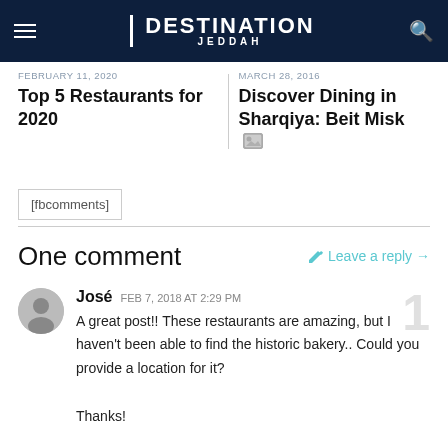DESTINATION JEDDAH
FEBRUARY 11, 2020
Top 5 Restaurants for 2020
MARCH 28, 2016
Discover Dining in Sharqiya: Beit Misk
[fbcomments]
One comment
Leave a reply →
José  FEB 7, 2018 AT 2:29 PM
A great post!! These restaurants are amazing, but I haven't been able to find the historic bakery.. Could you provide a location for it?

Thanks!